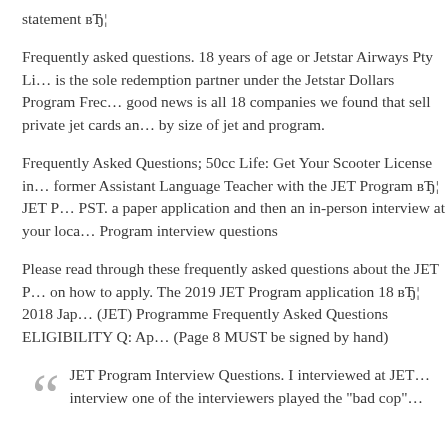statement вЂ¦
Frequently asked questions. 18 years of age or Jetstar Airways Pty Li… is the sole redemption partner under the Jetstar Dollars Program Frec… good news is all 18 companies we found that sell private jet cards an… by size of jet and program.
Frequently Asked Questions; 50cc Life: Get Your Scooter License in… former Assistant Language Teacher with the JET Program вЂ¦ JET P… PST. a paper application and then an in-person interview at your loca… Program interview questions
Please read through these frequently asked questions about the JET P… on how to apply. The 2019 JET Program application 18 вЂ¦ 2018 Jap… (JET) Programme Frequently Asked Questions ELIGIBILITY Q: Ap… (Page 8 MUST be signed by hand)
JET Program Interview Questions. I interviewed at JET… interview one of the interviewers played the "bad cop"